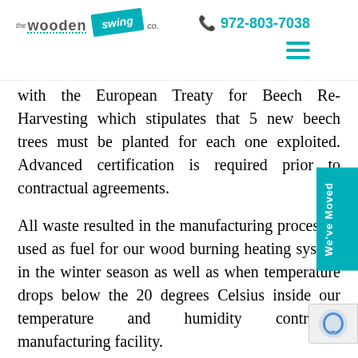[Figure (logo): The Wooden Swing Co. logo with teal swing badge and dotted underline on wooden]
972-803-7038
with the European Treaty for Beech Re-Harvesting which stipulates that 5 new beech trees must be planted for each one exploited. Advanced certification is required prior to contractual agreements.
All waste resulted in the manufacturing process is used as fuel for our wood burning heating system in the winter season as well as when temperature drops below the 20 degrees Celsius inside our temperature and humidity controlled manufacturing facility.
Special software is used in the design process for minimizing wood waste, furthermore all supply